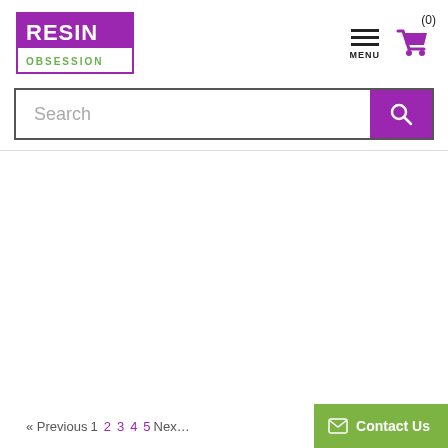[Figure (logo): Resin Obsession logo — purple rectangle with white RESIN text on top and green OBSESSION text below, bordered box]
[Figure (other): Hamburger menu icon with three horizontal bars and MENU label below]
[Figure (other): Shopping cart icon in purple with (0) above it]
[Figure (other): Search bar with Search placeholder text and purple search button with magnifying glass icon]
« Previous 1 2 3 4 5 Next
✉ Contact Us